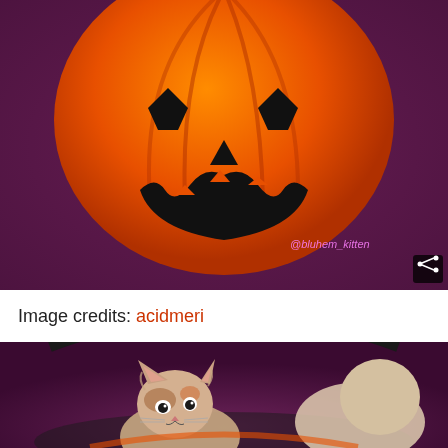[Figure (photo): A bright orange Halloween jack-o-lantern pumpkin with a carved scary smiling face (triangular eyes and jagged mouth) on a dark purple fabric background. A watermark '@bluhem_kitten' and a share icon are visible in the bottom right corner.]
Image credits: acidmeri
[Figure (photo): A small fluffy calico kitten sitting inside a black cauldron or bucket on a dark purple fabric background. The kitten is looking up with wide eyes and appears to be holding or touching something orange.]